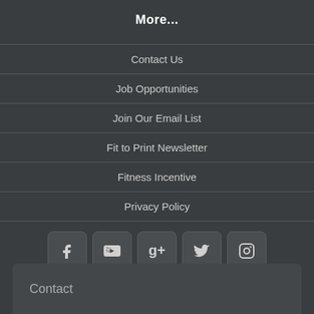More...
Contact Us
Job Opportunities
Join Our Email List
Fit to Print Newsletter
Fitness Incentive
Privacy Policy
[Figure (infographic): Row of 5 social media icon buttons: Facebook, YouTube, Google+, Twitter, Instagram]
Contact